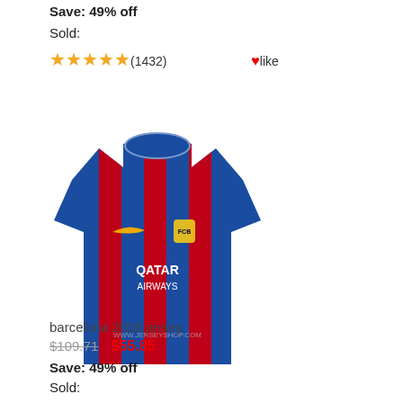Save: 49% off
Sold:
★★★★★(1432)   ♥ like
[Figure (photo): Barcelona 2016 home jersey - red and blue striped Nike shirt with Qatar Airways sponsor]
barcelona 2016 jersey
$109.71   $55.85
Save: 49% off
Sold:
★★★★★(1623)   ♥ like
[Figure (photo): Barcelona away jersey dark navy blue with pink Messi #10 - shown front and back views]